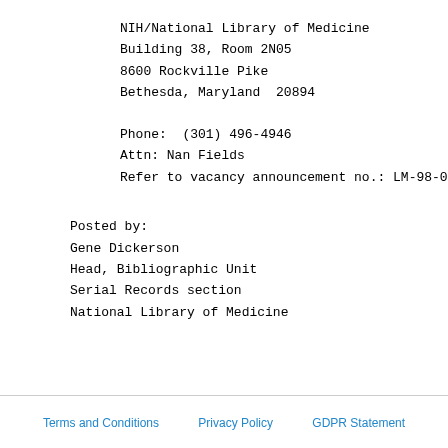NIH/National Library of Medicine
Building 38, Room 2N05
8600 Rockville Pike
Bethesda, Maryland  20894
Phone:  (301) 496-4946
Attn: Nan Fields
Refer to vacancy announcement no.: LM-98-0011
Posted by:
Gene Dickerson
Head, Bibliographic Unit
Serial Records section
National Library of Medicine
Terms and Conditions   Privacy Policy   GDPR Statement